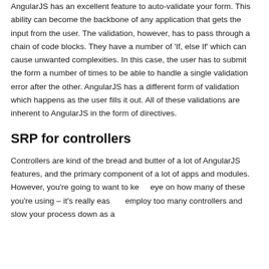AngularJS has an excellent feature to auto-validate your form. This ability can become the backbone of any application that gets the input from the user. The validation, however, has to pass through a chain of code blocks. They have a number of 'If, else If' which can cause unwanted complexities. In this case, the user has to submit the form a number of times to be able to handle a single validation error after the other. AngularJS has a different form of validation which happens as the user fills it out. All of these validations are inherent to AngularJS in the form of directives.
SRP for controllers
Controllers are kind of the bread and butter of a lot of AngularJS features, and the primary component of a lot of apps and modules. However, you're going to want to keep eye on how many of these you're using – it's really easy to employ too many controllers and slow your process down as a